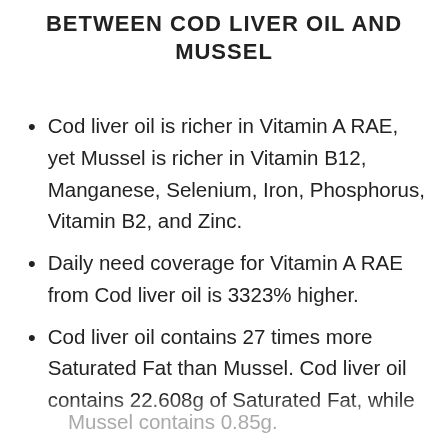BETWEEN COD LIVER OIL AND MUSSEL
Cod liver oil is richer in Vitamin A RAE, yet Mussel is richer in Vitamin B12, Manganese, Selenium, Iron, Phosphorus, Vitamin B2, and Zinc.
Daily need coverage for Vitamin A RAE from Cod liver oil is 3323% higher.
Cod liver oil contains 27 times more Saturated Fat than Mussel. Cod liver oil contains 22.608g of Saturated Fat, while Mussel contains 0.85g.